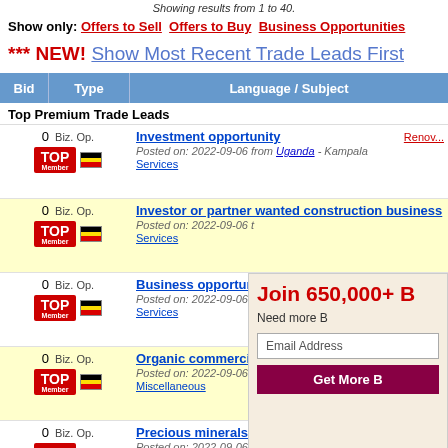Showing results from 1 to 40.
Show only: Offers to Sell  Offers to Buy  Business Opportunities
*** NEW! Show Most Recent Trade Leads First
| Bid | Type | Language / Subject |
| --- | --- | --- |
| Top Premium Trade Leads |  |  |
| 0 | Biz. Op. | Investment opportunity | Posted on: 2022-09-06 from Uganda - Kampala | Services |
| 0 | Biz. Op. | Investor or partner wanted construction business | Posted on: 2022-09-06 t | Services |
| 0 | Biz. Op. | Business opportun... | Posted on: 2022-09-06 t | Services |
| 0 | Biz. Op. | Organic commercia... | Posted on: 2022-09-06 t | Miscellaneous |
| 0 | Biz. Op. | Precious minerals... | Posted on: 2022-09-06 t | Services |
| 0 | Biz. Op. | Sports lounge & gr... | Posted on: 2022-09-06 t |
Join 650,000+ B
Need more B
Email Address
Get More B